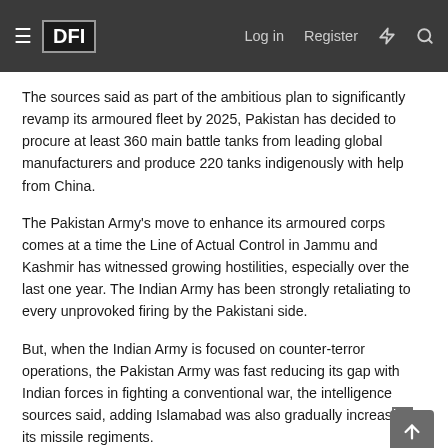DFI | Log in | Register
The sources said as part of the ambitious plan to significantly revamp its armoured fleet by 2025, Pakistan has decided to procure at least 360 main battle tanks from leading global manufacturers and produce 220 tanks indigenously with help from China.
The Pakistan Army's move to enhance its armoured corps comes at a time the Line of Actual Control in Jammu and Kashmir has witnessed growing hostilities, especially over the last one year. The Indian Army has been strongly retaliating to every unprovoked firing by the Pakistani side.
But, when the Indian Army is focused on counter-terror operations, the Pakistan Army was fast reducing its gap with Indian forces in fighting a conventional war, the intelligence sources said, adding Islamabad was also gradually increasing its missile regiments.